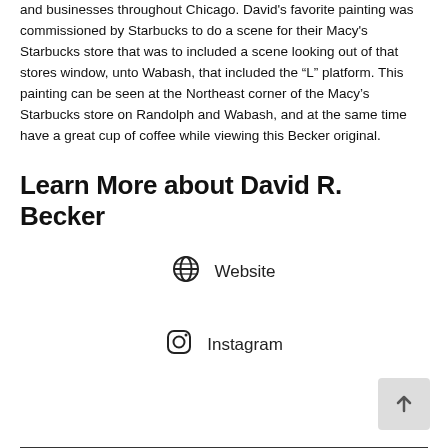and businesses throughout Chicago. David's favorite painting was commissioned by Starbucks to do a scene for their Macy's Starbucks store that was to included a scene looking out of that stores window, unto Wabash, that included the “L” platform. This painting can be seen at the Northeast corner of the Macy’s Starbucks store on Randolph and Wabash, and at the same time have a great cup of coffee while viewing this Becker original.
Learn More about David R. Becker
Website
Instagram